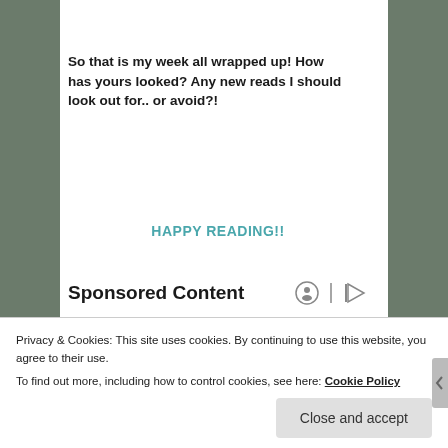So that is my week all wrapped up! How has yours looked? Any new reads I should look out for.. or avoid?!
HAPPY READING!!
Sponsored Content
[Figure (photo): Two people wearing sunglasses seated at what appears to be a sports venue (Wimbledon-style seating with green and wooden seats in the background). A man in a suit on the left and a woman with long brown hair on the right.]
Privacy & Cookies: This site uses cookies. By continuing to use this website, you agree to their use.
To find out more, including how to control cookies, see here: Cookie Policy